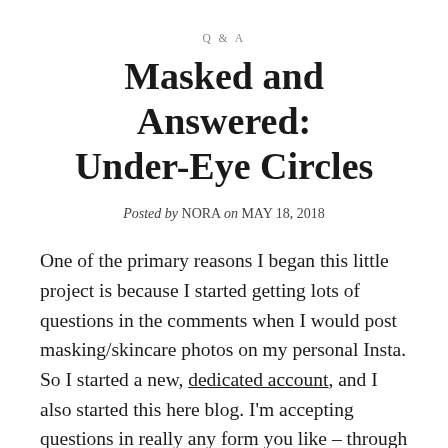Q & A
Masked and Answered: Under-Eye Circles
Posted by NORA on MAY 18, 2018
One of the primary reasons I began this little project is because I started getting lots of questions in the comments when I would post masking/skincare photos on my personal Insta. So I started a new, dedicated account, and I also started this here blog. I'm accepting questions in really any form you like – through the Contact page, via comments on photos or posts,